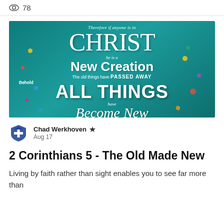78
[Figure (illustration): Teal background with colorful confetti dots. Text reads: 'Therefore if anyone is in CHRIST he is a New Creation The old things have PASSED AWAY Behold ALL THINGS have Become New 2 CORINTHIANS 5:17']
Chad Werkhoven  Aug 17
2 Corinthians 5 - The Old Made New
Living by faith rather than sight enables you to see far more than